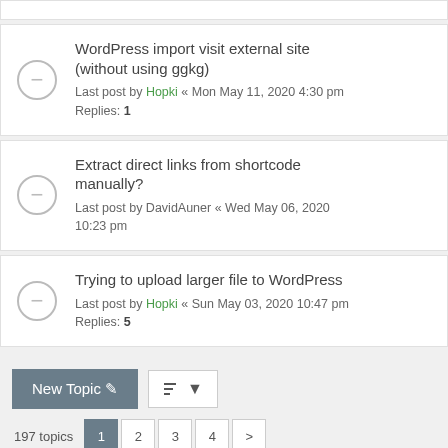WordPress import visit external site (without using ggkg) — Last post by Hopki « Mon May 11, 2020 4:30 pm — Replies: 1
Extract direct links from shortcode manually? — Last post by DavidAuner « Wed May 06, 2020 10:23 pm
Trying to upload larger file to WordPress — Last post by Hopki « Sun May 03, 2020 10:47 pm — Replies: 5
New Topic | sort | 197 topics | 1 | 2 | 3 | 4 | >